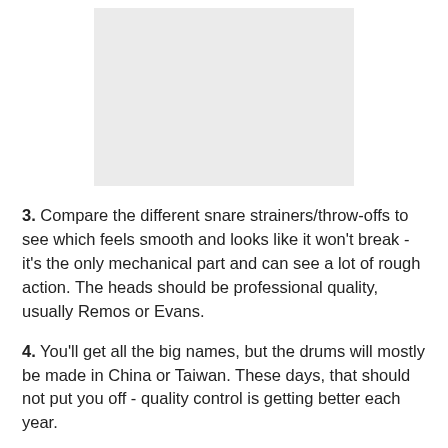[Figure (photo): A light gray rectangular placeholder image at the top of the page.]
3. Compare the different snare strainers/throw-offs to see which feels smooth and looks like it won't break - it's the only mechanical part and can see a lot of rough action. The heads should be professional quality, usually Remos or Evans.
4. You'll get all the big names, but the drums will mostly be made in China or Taiwan. These days, that should not put you off - quality control is getting better each year.